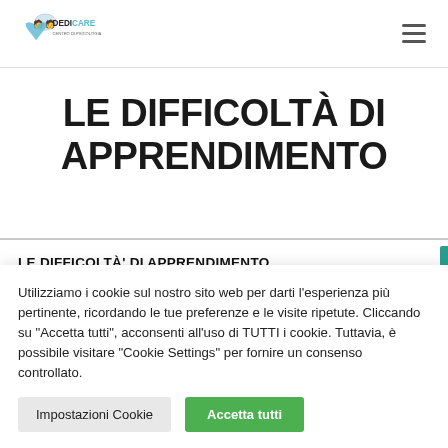[Figure (logo): DediCare Centro di Psicologia logo with icon and text]
LE DIFFICOLTÀ DI APPRENDIMENTO
LE DIFFICOLTÀ' DI APPRENDIMENTO
Utilizziamo i cookie sul nostro sito web per darti l'esperienza più pertinente, ricordando le tue preferenze e le visite ripetute. Cliccando su "Accetta tutti", acconsenti all'uso di TUTTI i cookie. Tuttavia, è possibile visitare "Cookie Settings" per fornire un consenso controllato.
Impostazioni Cookie  Accetta tutti